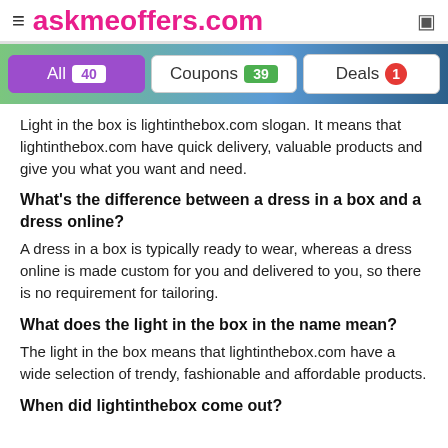≡ askmeoffers.com
All 40  Coupons 39  Deals 1
Light in the box is lightinthebox.com slogan. It means that lightinthebox.com have quick delivery, valuable products and give you what you want and need.
What's the difference between a dress in a box and a dress online?
A dress in a box is typically ready to wear, whereas a dress online is made custom for you and delivered to you, so there is no requirement for tailoring.
What does the light in the box in the name mean?
The light in the box means that lightinthebox.com have a wide selection of trendy, fashionable and affordable products.
When did lightinthebox come out?